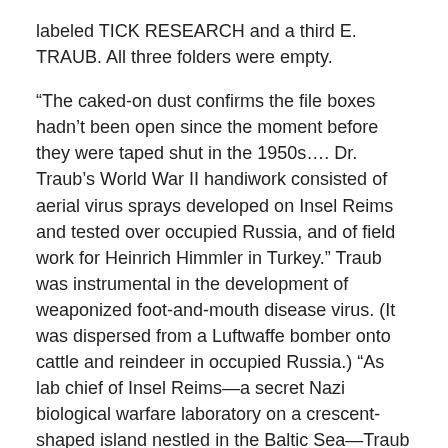labeled TICK RESEARCH and a third E. TRAUB. All three folders were empty.
“The caked-on dust confirms the file boxes hadn’t been open since the moment before they were taped shut in the 1950s…. Dr. Traub’s World War II handiwork consisted of aerial virus sprays developed on Insel Reims and tested over occupied Russia, and of field work for Heinrich Himmler in Turkey.” Traub was instrumental in the development of weaponized foot-and-mouth disease virus. (It was dispersed from a Luftwaffe bomber onto cattle and reindeer in occupied Russia.) “As lab chief of Insel Reims—a secret Nazi biological warfare laboratory on a crescent-shaped island nestled in the Baltic Sea—Traub worked directly for Adolph Hitler’s second-in-charge, SS Reichsfuher Heinrich Himmler, on live germ trials.”